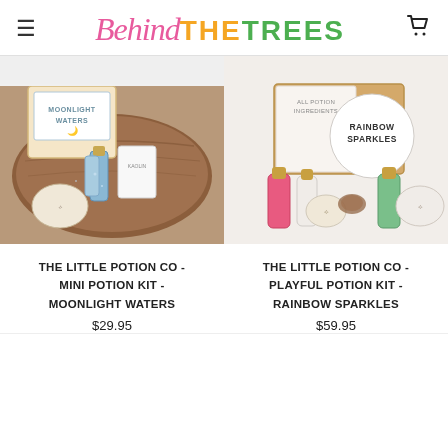Behind THE TREES — navigation header with hamburger menu and cart icon
[Figure (photo): Photo of Moonlight Waters mini potion kit — blue glitter bottle, small pouch, and accessories on a wooden tray]
THE LITTLE POTION CO - MINI POTION KIT - MOONLIGHT WATERS
$29.95
[Figure (photo): Photo of Rainbow Sparkles playful potion kit — pink and green bottles, small pouches, and box on white background]
THE LITTLE POTION CO - PLAYFUL POTION KIT - RAINBOW SPARKLES
$59.95